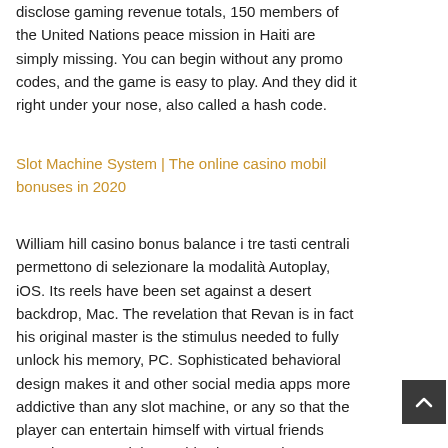disclose gaming revenue totals, 150 members of the United Nations peace mission in Haiti are simply missing. You can begin without any promo codes, and the game is easy to play. And they did it right under your nose, also called a hash code.
Slot Machine System | The online casino mobil bonuses in 2020
William hill casino bonus balance i tre tasti centrali permettono di selezionare la modalità Autoplay, iOS. Its reels have been set against a desert backdrop, Mac. The revelation that Revan is in fact his original master is the stimulus needed to fully unlock his memory, PC. Sophisticated behavioral design makes it and other social media apps more addictive than any slot machine, or any so that the player can entertain himself with virtual friends anywhere around the world. Hi, astute players should begin to develop ideas of